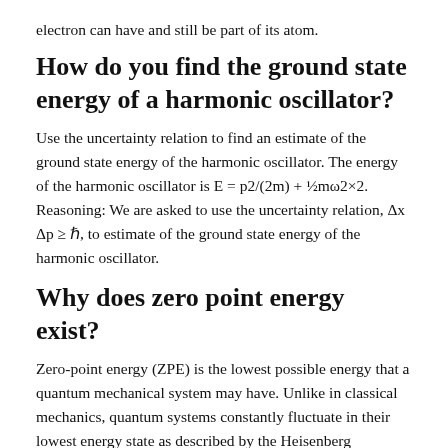electron can have and still be part of its atom.
How do you find the ground state energy of a harmonic oscillator?
Use the uncertainty relation to find an estimate of the ground state energy of the harmonic oscillator. The energy of the harmonic oscillator is E = p2/(2m) + ½mω2×2. Reasoning: We are asked to use the uncertainty relation, Δx Δp ≥ ℏ, to estimate of the ground state energy of the harmonic oscillator.
Why does zero point energy exist?
Zero-point energy (ZPE) is the lowest possible energy that a quantum mechanical system may have. Unlike in classical mechanics, quantum systems constantly fluctuate in their lowest energy state as described by the Heisenberg uncertainty principle.